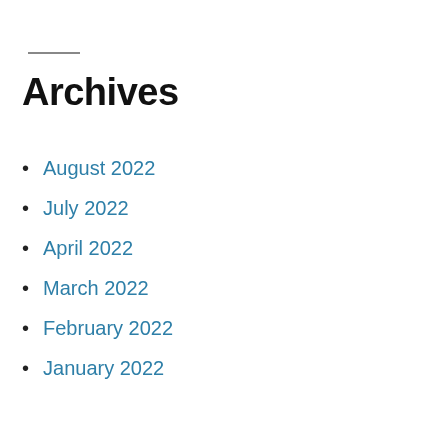Archives
August 2022
July 2022
April 2022
March 2022
February 2022
January 2022